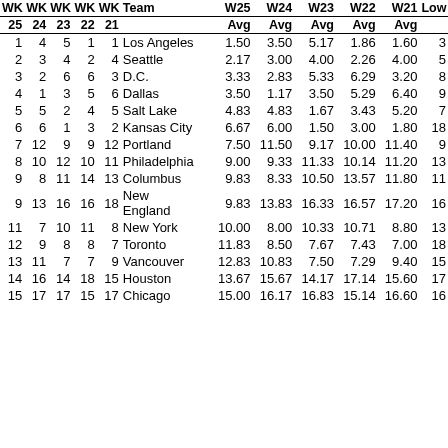| WK | WK | WK | WK | WK | Team | W25 Avg | W24 Avg | W23 Avg | W22 Avg | W21 Avg | Low |
| --- | --- | --- | --- | --- | --- | --- | --- | --- | --- | --- | --- |
| 25 | 24 | 23 | 22 | 21 |  |  |  |  |  |  |  |
| 1 | 4 | 5 | 1 | 1 | Los Angeles | 1.50 | 3.50 | 5.17 | 1.86 | 1.60 | 3 |
| 2 | 3 | 4 | 2 | 4 | Seattle | 2.17 | 3.00 | 4.00 | 2.26 | 4.00 | 5 |
| 3 | 2 | 6 | 6 | 3 | D.C. | 3.33 | 2.83 | 5.33 | 6.29 | 3.20 | 8 |
| 4 | 1 | 3 | 5 | 6 | Dallas | 3.50 | 1.17 | 3.50 | 5.29 | 6.40 | 9 |
| 5 | 5 | 2 | 4 | 5 | Salt Lake | 4.83 | 4.83 | 1.67 | 3.43 | 5.20 | 7 |
| 6 | 6 | 1 | 3 | 2 | Kansas City | 6.67 | 6.00 | 1.50 | 3.00 | 1.80 | 18 |
| 7 | 12 | 9 | 9 | 12 | Portland | 7.50 | 11.50 | 9.17 | 10.00 | 11.40 | 9 |
| 8 | 10 | 12 | 10 | 11 | Philadelphia | 9.00 | 9.33 | 11.33 | 10.14 | 11.20 | 13 |
| 9 | 8 | 11 | 14 | 13 | Columbus | 9.83 | 8.33 | 10.50 | 13.57 | 11.80 | 11 |
| 9 | 13 | 16 | 16 | 18 | New England | 9.83 | 13.83 | 16.33 | 16.57 | 17.20 | 16 |
| 11 | 7 | 10 | 11 | 8 | New York | 10.00 | 8.00 | 10.33 | 10.71 | 8.80 | 13 |
| 12 | 9 | 8 | 8 | 7 | Toronto | 11.83 | 8.50 | 7.67 | 7.43 | 7.00 | 18 |
| 13 | 11 | 7 | 7 | 9 | Vancouver | 12.83 | 10.83 | 7.50 | 7.29 | 9.40 | 15 |
| 14 | 16 | 14 | 18 | 15 | Houston | 13.67 | 15.67 | 14.17 | 17.14 | 15.60 | 17 |
| 15 | 17 | 17 | 15 | 17 | Chicago | 15.00 | 16.17 | 16.83 | 15.14 | 16.60 | 16 |